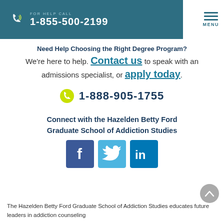FOR HELP CALL 1-855-500-2199
Need Help Choosing the Right Degree Program?
We're here to help. Contact us to speak with an admissions specialist, or apply today.
1-888-905-1755
Connect with the Hazelden Betty Ford Graduate School of Addiction Studies
[Figure (infographic): Three social media icons: Facebook (dark blue), Twitter (light blue), LinkedIn (blue)]
The Hazelden Betty Ford Graduate School of Addiction Studies educates future leaders in addiction counseling